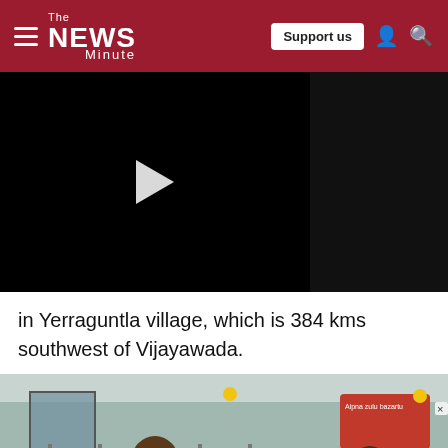The News Minute
[Figure (screenshot): Embedded video player showing a black screen with a white play button triangle in the center-left area. Right side shows a dark sidebar.]
in Yerraguntla village, which is 384 kms southwest of Vijayawada.
[Figure (photo): Photo showing people at what appears to be a medical or public health setting. A man in white shirt and mask is visible in the foreground. There are metal railings and signage in the background including a red and green sign.]